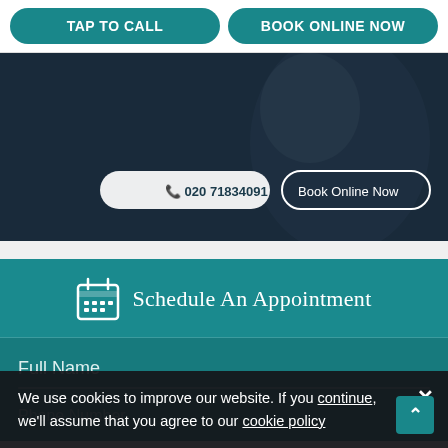TAP TO CALL
BOOK ONLINE NOW
[Figure (screenshot): Hero image showing a person, with two overlay buttons: phone number 020 71834091 and Book Online Now]
Schedule An Appointment
Full Name
We use cookies to improve our website. If you continue, we'll assume that you agree to our cookie policy